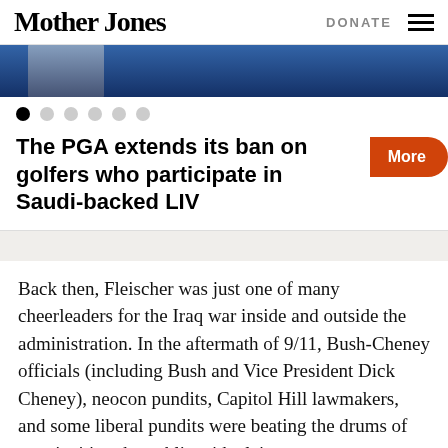Mother Jones | DONATE
[Figure (photo): Hero image strip showing a partial photograph, dark blue tones, appears to be a person near a car or vehicle]
Carousel navigation dots (6 dots, first one active)
The PGA extends its ban on golfers who participate in Saudi-backed LIV
Back then, Fleischer was just one of many cheerleaders for the Iraq war inside and outside the administration. In the aftermath of 9/11, Bush-Cheney officials (including Bush and Vice President Dick Cheney), neocon pundits, Capitol Hill lawmakers, and some liberal pundits were beating the drums of war, inciting the public with claims